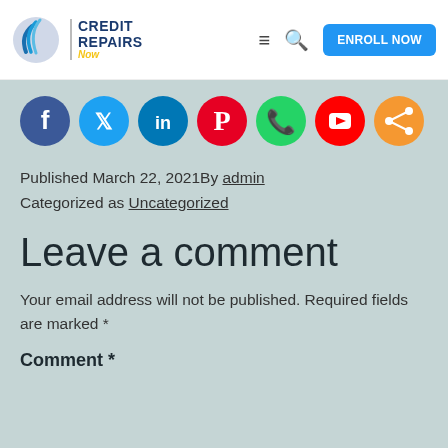[Figure (logo): Credit Repairs Now logo with circular blue swoosh icon and text]
[Figure (infographic): Social media icon buttons: Facebook, Twitter, LinkedIn, Pinterest, WhatsApp, YouTube, Share]
Published March 22, 2021By admin
Categorized as Uncategorized
Leave a comment
Your email address will not be published. Required fields are marked *
Comment *